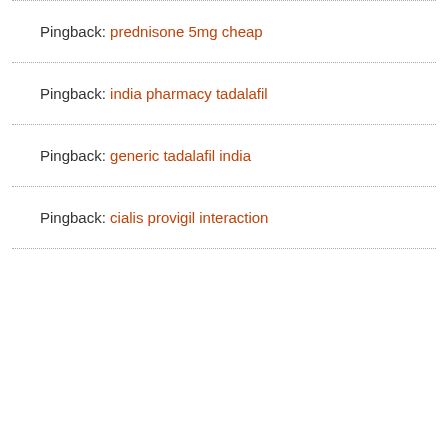Pingback: prednisone 5mg cheap
Pingback: india pharmacy tadalafil
Pingback: generic tadalafil india
Pingback: cialis provigil interaction